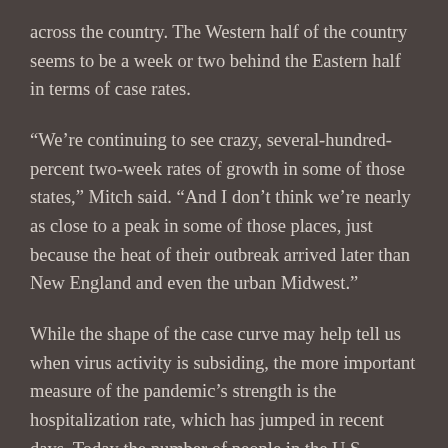across the country. The Western half of the country seems to be a week or two behind the Eastern half in terms of case rates.
“We’re continuing to see crazy, several-hundred-percent two-week rates of growth in some of those states,” Mitch said. “And I don’t think we’re nearly as close to a peak in some of those places, just because the heat of their outbreak arrived later than New England and even the urban Midwest.”
While the shape of the case curve may help tell us when virus activity is subsiding, the more important measure of the pandemic’s strength is the hospitalization rate, which has jumped in recent days. Today the number of people in the U.S. hospitalized with Covid-19 exceeded